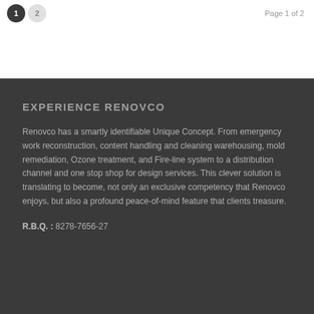1  2   Page 1 of 2
EXPERIENCE RENOVCO
Renovco has a smartly identifiable Unique Concept. From emergency work reconstruction, content handling and cleaning warehousing, mold remediation, Ozone treatment, and Fire-line system to a distribution channel and one stop shop for design services. This clever solution is translating to become, not only an exclusive competency that Renovco enjoys, but also a profound peace-of-mind feature that clients treasure.
R.B.Q. : 8278-7656-27